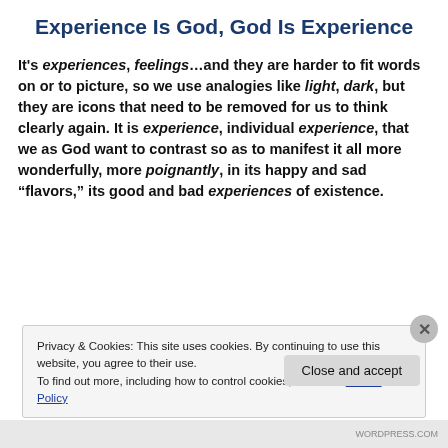Experience Is God, God Is Experience
It's experiences, feelings…and they are harder to fit words on or to picture, so we use analogies like light, dark, but they are icons that need to be removed for us to think clearly again. It is experience, individual experience, that we as God want to contrast so as to manifest it all more wonderfully, more poignantly, in its happy and sad “flavors,” its good and bad experiences of existence.
Privacy & Cookies: This site uses cookies. By continuing to use this website, you agree to their use.
To find out more, including how to control cookies, see here: Cookie Policy